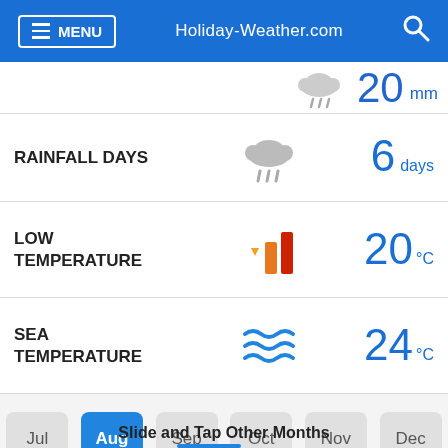MENU  Holiday-Weather.com
RAINFALL DAYS  6 days
LOW TEMPERATURE  20 °C
SEA TEMPERATURE  24 °C
Jul  Aug  Sep  Oct  Nov  Dec
Slide and Tap Other Months